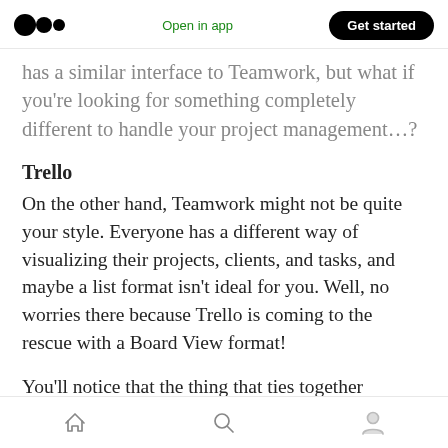Medium logo | Open in app | Get started
has a similar interface to Teamwork, but what if you’re looking for something completely different to handle your project management…?
Trello
On the other hand, Teamwork might not be quite your style. Everyone has a different way of visualizing their projects, clients, and tasks, and maybe a list format isn’t ideal for you. Well, no worries there because Trello is coming to the rescue with a Board View format!
You’ll notice that the thing that ties together
Home | Search | Profile